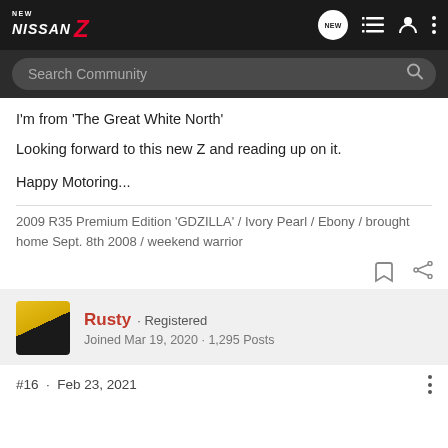New Nissan Z community forum header with search bar
I'm from 'The Great White North'
Looking forward to this new Z and reading up on it.

Happy Motoring...
2009 R35 Premium Edition 'GDZILLA' / Ivory Pearl / Ebony / brought home Sept. 8th 2008 / weekend warrior
Rusty · Registered
Joined Mar 19, 2020 · 1,295 Posts
#16 · Feb 23, 2021